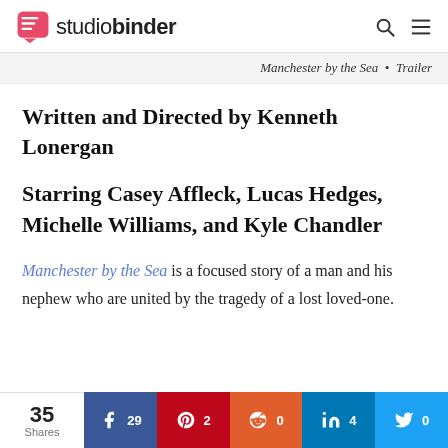studiobinder
Manchester by the Sea • Trailer
Written and Directed by Kenneth Lonergan
Starring Casey Affleck, Lucas Hedges, Michelle Williams, and Kyle Chandler
Manchester by the Sea is a focused story of a man and his nephew who are united by the tragedy of a lost loved-one.
35 Shares | Facebook 29 | Pinterest 2 | Reddit 0 | LinkedIn 4 | Twitter 0